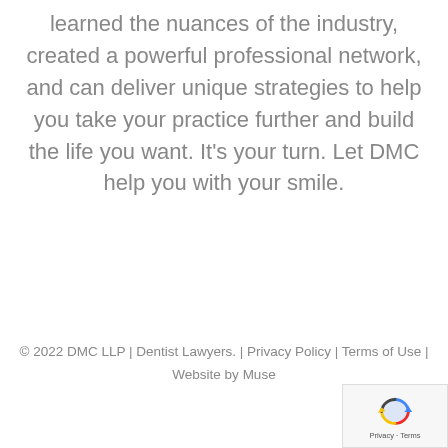learned the nuances of the industry, created a powerful professional network, and can deliver unique strategies to help you take your practice further and build the life you want. It's your turn. Let DMC help you with your smile.
© 2022 DMC LLP | Dentist Lawyers. | Privacy Policy | Terms of Use | Website by Muse